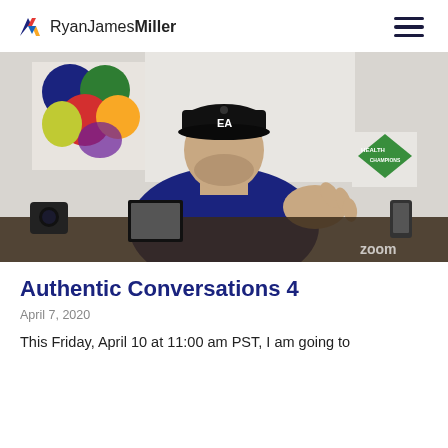RyanJamesMiller
[Figure (photo): Man wearing a black baseball cap with 'EA' logo and dark polo shirt, gesturing with his hand during what appears to be a Zoom video call. In the background is colorful abstract art on the wall and a green diamond-shaped 'Health Champions' sign. Items on a desk are visible in the foreground.]
Authentic Conversations 4
April 7, 2020
This Friday, April 10 at 11:00 am PST, I am going to